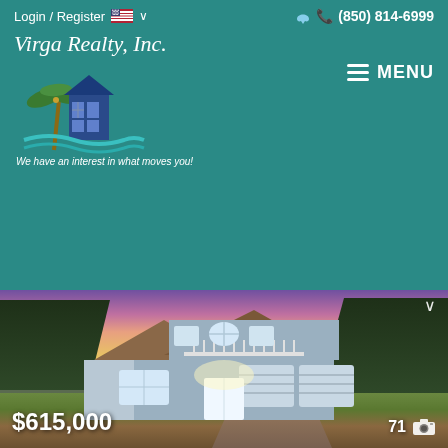Login / Register | (850) 814-6999 | Virga Realty, Inc. | We have an interest in what moves you! | MENU
[Figure (photo): Exterior photo of a two-story gray stucco house with brown roof, three-car garage, illuminated at dusk with pink and purple sky backdrop, landscaped yard with price overlay $615,000 and photo count 71]
$615,000
71
217 Tierra Verde Ln
PANAMA CITY BEACH, FL 32407
Tierra Verde